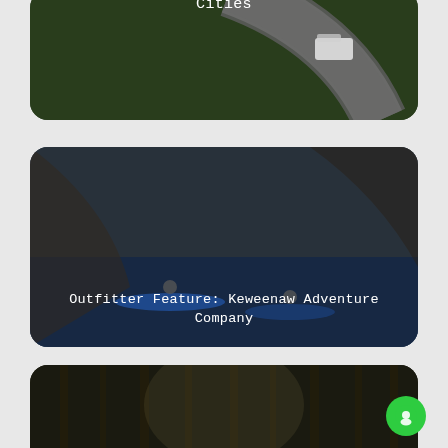[Figure (photo): Aerial view of a winding road with a white van/RV driving on it, surrounded by green trees and hills. Partially visible card at the top with text 'Cities'.]
[Figure (photo): People kayaking on blue water near rocky cliffs. Dark overlay with centered white text reading 'Outfitter Feature: Keweenaw Adventure Company'.]
[Figure (photo): Forest scene with tall trees in misty light. Partially visible card at the bottom with white text starting 'Your Questions Answered: How Safe'.]